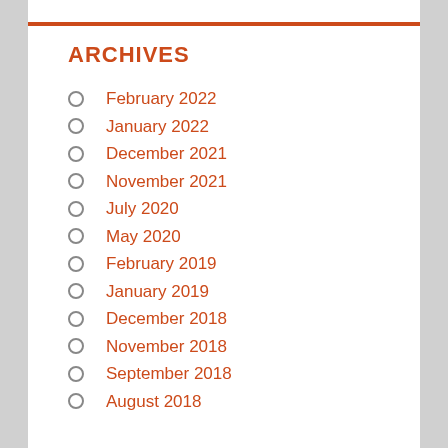ARCHIVES
February 2022
January 2022
December 2021
November 2021
July 2020
May 2020
February 2019
January 2019
December 2018
November 2018
September 2018
August 2018